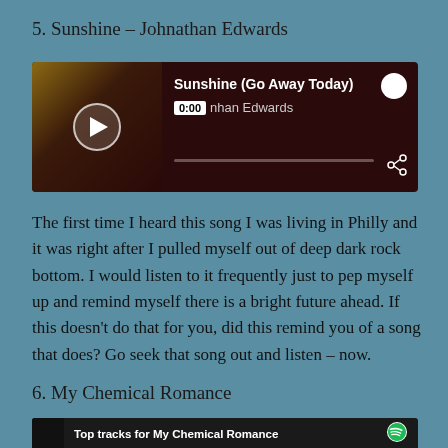5. Sunshine – Johnathan Edwards
[Figure (screenshot): Spotify embedded player showing 'Sunshine (Go Away Today)' by Johnathan Edwards, with album art, play button, time 0:00, progress bar, Spotify logo, and share icon.]
The first time I heard this song I was living in Philly and it was right after I pulled myself out of deep dark rock bottom. I would listen to it frequently just to pep myself up and remind myself there is a bright future ahead. If this doesn't do that for you, did this remind you of a song that does? Go seek that song out and listen – now.
6. My Chemical Romance
[Figure (screenshot): Partial Spotify embedded player showing Top tracks for My Chemical Romance with album art thumbnail.]